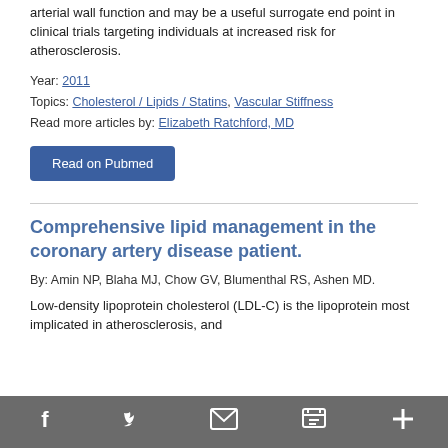arterial wall function and may be a useful surrogate end point in clinical trials targeting individuals at increased risk for atherosclerosis.
Year: 2011
Topics: Cholesterol / Lipids / Statins, Vascular Stiffness
Read more articles by: Elizabeth Ratchford, MD
Read on Pubmed
Comprehensive lipid management in the coronary artery disease patient.
By: Amin NP, Blaha MJ, Chow GV, Blumenthal RS, Ashen MD.
Low-density lipoprotein cholesterol (LDL-C) is the lipoprotein most implicated in atherosclerosis, and
Facebook  Twitter  Email  Print  More